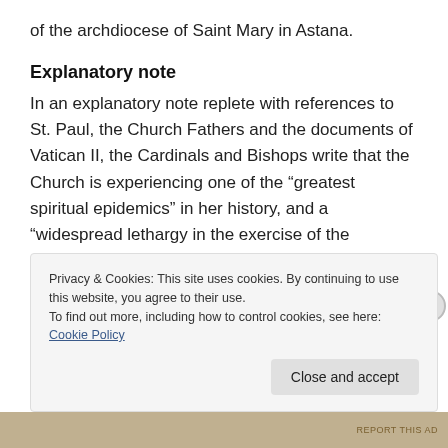of the archdiocese of Saint Mary in Astana.
Explanatory note
In an explanatory note replete with references to St. Paul, the Church Fathers and the documents of Vatican II, the Cardinals and Bishops write that the Church is experiencing one of the “greatest spiritual epidemics” in her history, and a “widespread lethargy in the exercise of the Magisterium on different levels of the Church’s hierarchy in our days.”
"...
Privacy & Cookies: This site uses cookies. By continuing to use this website, you agree to their use.
To find out more, including how to control cookies, see here: Cookie Policy
Close and accept